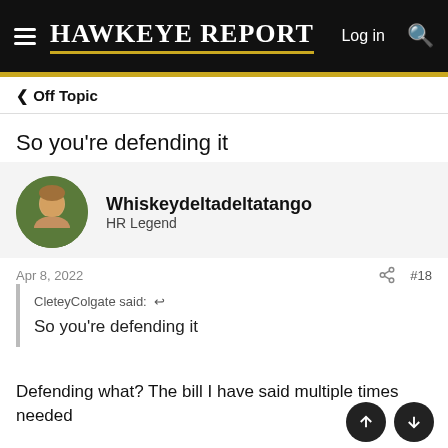HAWKEYE REPORT  Log in  🔍
< Off Topic
So you're defending it
Whiskeydeltadeltatango
HR Legend
Apr 8, 2022   #18
CleteyColgate said: ↩

So you're defending it
Defending what? The bill I have said multiple times needed